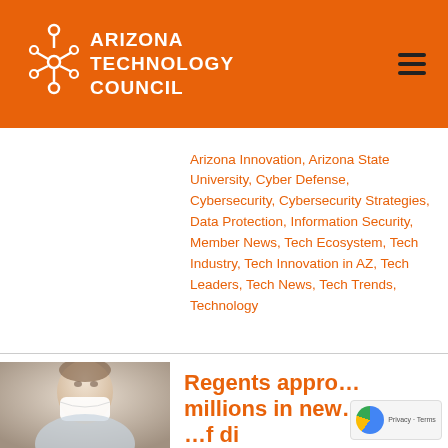[Figure (logo): Arizona Technology Council logo with circuit-board icon and white text on orange background, with hamburger menu icon on right]
Arizona Innovation, Arizona State University, Cyber Defense, Cybersecurity, Cybersecurity Strategies, Data Protection, Information Security, Member News, Tech Ecosystem, Tech Industry, Tech Innovation in AZ, Tech Leaders, Tech News, Tech Trends, Technology
[Figure (photo): Partial photo of a person wearing a medical mask, blurred background]
Regents appro... millions in new... ...f di